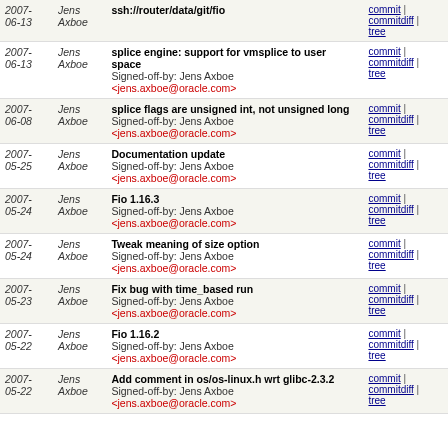| Date | Author | Message | Links |
| --- | --- | --- | --- |
| 2007-06-13 | Jens Axboe | ssh://router/data/git/fio
Signed-off-by: Jens Axboe <jens.axboe@oracle.com> | commit | commitdiff | tree |
| 2007-06-13 | Jens Axboe | splice engine: support for vmsplice to user space
Signed-off-by: Jens Axboe <jens.axboe@oracle.com> | commit | commitdiff | tree |
| 2007-06-08 | Jens Axboe | splice flags are unsigned int, not unsigned long
Signed-off-by: Jens Axboe <jens.axboe@oracle.com> | commit | commitdiff | tree |
| 2007-05-25 | Jens Axboe | Documentation update
Signed-off-by: Jens Axboe <jens.axboe@oracle.com> | commit | commitdiff | tree |
| 2007-05-24 | Jens Axboe | Fio 1.16.3
Signed-off-by: Jens Axboe <jens.axboe@oracle.com> | commit | commitdiff | tree |
| 2007-05-24 | Jens Axboe | Tweak meaning of size option
Signed-off-by: Jens Axboe <jens.axboe@oracle.com> | commit | commitdiff | tree |
| 2007-05-23 | Jens Axboe | Fix bug with time_based run
Signed-off-by: Jens Axboe <jens.axboe@oracle.com> | commit | commitdiff | tree |
| 2007-05-22 | Jens Axboe | Fio 1.16.2
Signed-off-by: Jens Axboe <jens.axboe@oracle.com> | commit | commitdiff | tree |
| 2007-05-22 | Jens Axboe | Add comment in os/os-linux.h wrt glibc-2.3.2
Signed-off-by: Jens Axboe <jens.axboe@oracle.com> | commit | commitdiff | tree |